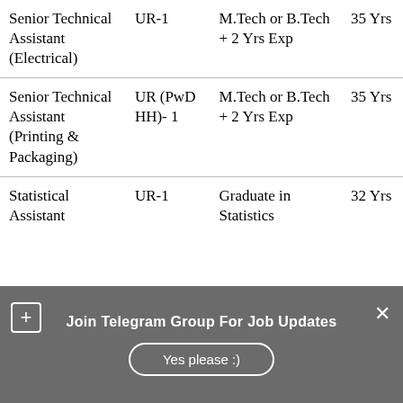| Post | Vacancies | Qualification | Age |
| --- | --- | --- | --- |
| Senior Technical Assistant (Electrical) | UR-1 | M.Tech or B.Tech + 2 Yrs Exp | 35 Yrs |
| Senior Technical Assistant (Printing & Packaging) | UR (PwD HH)- 1 | M.Tech or B.Tech + 2 Yrs Exp | 35 Yrs |
| Statistical Assistant | UR-1 | Graduate in Statistics | 32 Yrs |
Join Telegram Group For Job Updates
Yes please :)